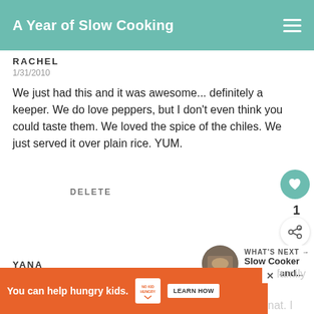A Year of Slow Cooking
RACHEL
1/31/2010
We just had this and it was awesome... definitely a keeper. We do love peppers, but I don't even think you could taste them. We loved the spice of the chiles. We just served it over plain rice. YUM.
DELETE
[Figure (other): Heart/like button icon (teal circle) with count 1, and share button below]
[Figure (other): What's Next panel with thumbnail image of food and text: WHAT'S NEXT → Slow Cooker Salmon and...]
YANA
3/13/2010
[Figure (other): Advertisement banner: You can help hungry kids. NO KID HUNGRY logo. LEARN HOW button. Close (X) button.]